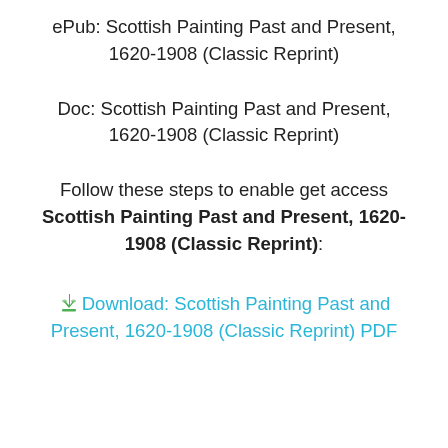ePub: Scottish Painting Past and Present, 1620-1908 (Classic Reprint)
Doc: Scottish Painting Past and Present, 1620-1908 (Classic Reprint)
Follow these steps to enable get access Scottish Painting Past and Present, 1620-1908 (Classic Reprint):
Download: Scottish Painting Past and Present, 1620-1908 (Classic Reprint) PDF